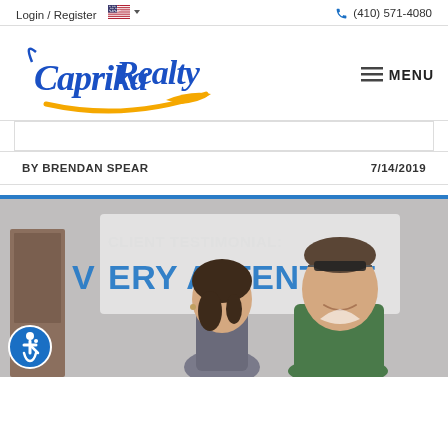Login / Register  (410) 571-4080
[Figure (logo): Caprika Realty logo with blue cursive lettering and gold/orange swoosh underline, with MENU hamburger button]
BY BRENDAN SPEAR   7/14/2019
[Figure (photo): Photo of two people (a woman and a man smiling) in front of a sign reading CLIENT TESTIMONIAL: VERY ATTENTIVE. Blue bar at top.]